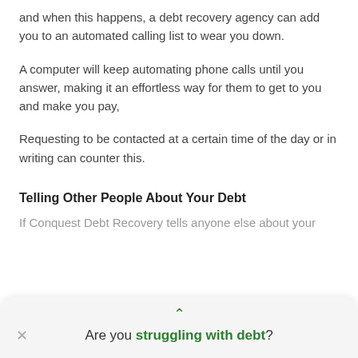and when this happens, a debt recovery agency can add you to an automated calling list to wear you down.
A computer will keep automating phone calls until you answer, making it an effortless way for them to get to you and make you pay,
Requesting to be contacted at a certain time of the day or in writing can counter this.
Telling Other People About Your Debt
If Conquest Debt Recovery tells anyone else about your
Are you struggling with debt?